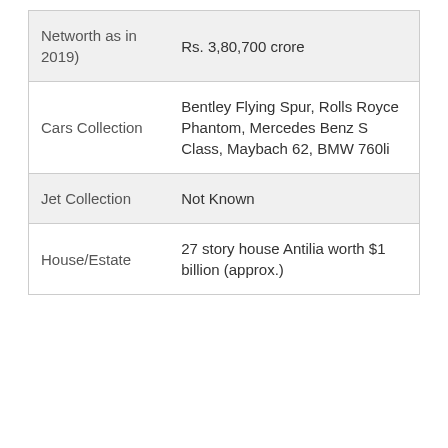| Networth as in 2019) | Rs. 3,80,700 crore |
| Cars Collection | Bentley Flying Spur, Rolls Royce Phantom, Mercedes Benz S Class, Maybach 62, BMW 760li |
| Jet Collection | Not Known |
| House/Estate | 27 story house Antilia worth $1 billion (approx.) |